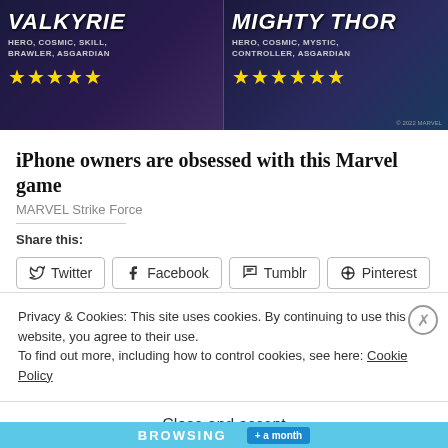[Figure (screenshot): Marvel game banner showing Valkyrie and Mighty Thor characters with star ratings. Left side: VALKYRIE, HERO, COSMIC, SKILL, BRAWLER, ASGARDIAN, 5 stars. Right side: MIGHTY THOR, HERO, COSMIC, MYSTIC, CONTROLLER, ASGARDIAN, 6 stars. © 2022 MARVEL.]
iPhone owners are obsessed with this Marvel game
MARVEL Strike Force
Share this:
Twitter  Facebook  Tumblr  Pinterest
Privacy & Cookies: This site uses cookies. By continuing to use this website, you agree to their use.
To find out more, including how to control cookies, see here: Cookie Policy
Close and accept